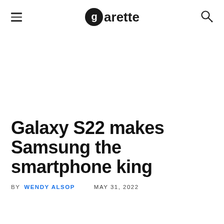garette (logo/navigation header)
Galaxy S22 makes Samsung the smartphone king
BY WENDY ALSOP   MAY 31, 2022